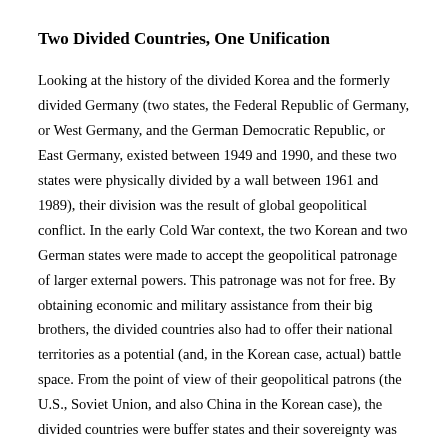Two Divided Countries, One Unification
Looking at the history of the divided Korea and the formerly divided Germany (two states, the Federal Republic of Germany, or West Germany, and the German Democratic Republic, or East Germany, existed between 1949 and 1990, and these two states were physically divided by a wall between 1961 and 1989), their division was the result of global geopolitical conflict. In the early Cold War context, the two Korean and two German states were made to accept the geopolitical patronage of larger external powers. This patronage was not for free. By obtaining economic and military assistance from their big brothers, the divided countries also had to offer their national territories as a potential (and, in the Korean case, actual) battle space. From the point of view of their geopolitical patrons (the U.S., Soviet Union, and also China in the Korean case), the divided countries were buffer states and their sovereignty was permanently suspended.